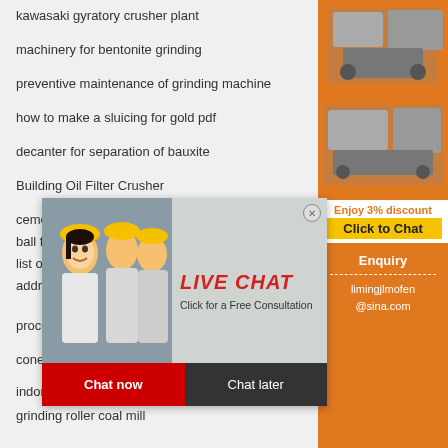kawasaki gyratory crusher plant
machinery for bentonite grinding
preventive maintenance of grinding machine
how to make a sluicing for gold pdf
decanter for separation of bauxite
Building Oil Filter Crusher
cement ...
ball fo...
list of...
addre...
process control ball mill
cone cone crusher principle video
indonesia crusher mobile crusher philippines
grinding roller coal mill
jaw stone breaker jaw crusher stone crusher
iron ore and copper ore crushing machineries
[Figure (screenshot): Live chat popup with photo of smiling woman in hard hat, red LIVE CHAT text, Chat now and Chat later buttons]
[Figure (screenshot): Orange sidebar with mining machinery images, Enjoy 3% discount, Click to Chat, Enquiry, limingjlmofen@sina.com]